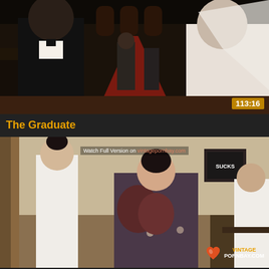[Figure (photo): Video thumbnail showing a man in a tuxedo and a woman in a white wedding dress and veil standing in a church aisle, with guests and red carpet visible in the background. Duration badge shows 113:16.]
The Graduate
[Figure (photo): Video thumbnail showing people in a room, one person in a white t-shirt and another in a floral dress bending over, with a woman in a white dress visible in the background. Vintage Pornbay watermark in bottom right.]